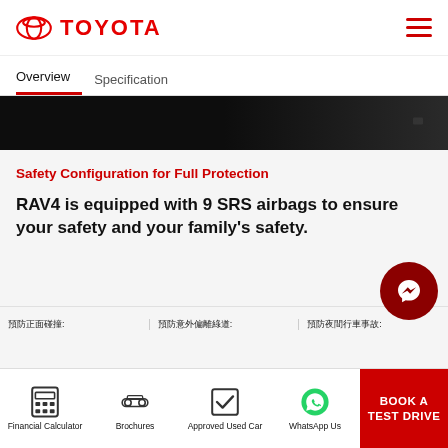TOYOTA
Overview  Specification
[Figure (photo): Dark interior car image band]
Safety Configuration for Full Protection
RAV4 is equipped with 9 SRS airbags to ensure your safety and your family's safety.
預防正面碰撞:  預防意外偏離綠道:  預防夜間行車事故:
[Figure (other): Messenger chat icon button]
Financial Calculator  Brochures  Approved Used Car  WhatsApp Us  BOOK A TEST DRIVE